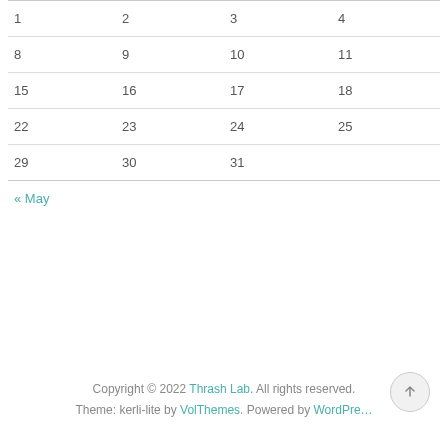| 1 | 2 | 3 | 4 |
| 8 | 9 | 10 | 11 |
| 15 | 16 | 17 | 18 |
| 22 | 23 | 24 | 25 |
| 29 | 30 | 31 |  |
« May
Copyright © 2022 Thrash Lab. All rights reserved.
Theme: kerli-lite by VolThemes. Powered by WordPress.